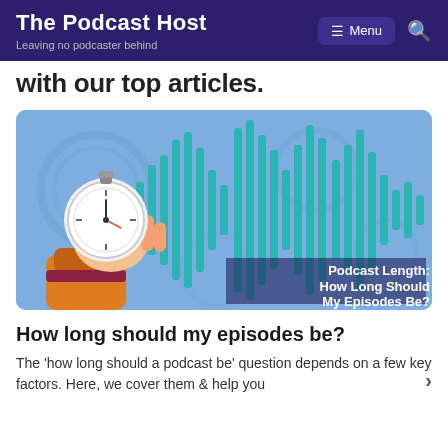The Podcast Host — Leaving no podcaster behind
with our top articles.
[Figure (illustration): Illustrated banner image with a light blue background featuring audio waveforms in teal, a hand holding a stopwatch/timer, and text reading 'Podcast Length: How Long Should My Episodes Be?']
How long should my episodes be?
The 'how long should a podcast be' question depends on a few key factors. Here, we cover them & help you